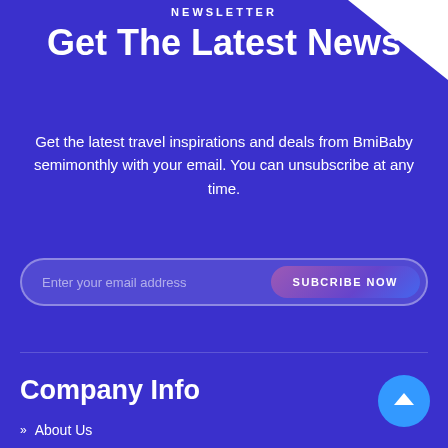NEWSLETTER
Get The Latest News
Get the latest travel inspirations and deals from BmiBaby semimonthly with your email. You can unsubscribe at any time.
Enter your email address | SUBCRIBE NOW
Company Info
>> About Us